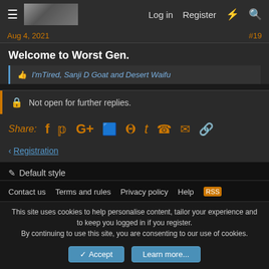Log in  Register
Aug 4, 2021  #19
Welcome to Worst Gen.
I'mTired, Sanji D Goat and Desert Waifu
Not open for further replies.
Share: (social icons)
Registration
Default style
Contact us  Terms and rules  Privacy policy  Help
This site uses cookies to help personalise content, tailor your experience and to keep you logged in if you register.
By continuing to use this site, you are consenting to our use of cookies.